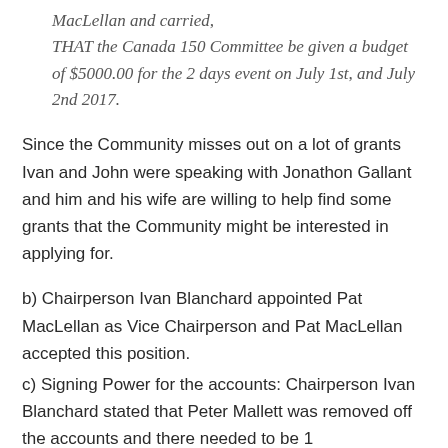MacLellan and carried, THAT the Canada 150 Committee be given a budget of $5000.00 for the 2 days event on July 1st, and July 2nd 2017.
Since the Community misses out on a lot of grants Ivan and John were speaking with Jonathon Gallant and him and his wife are willing to help find some grants that the Community might be interested in applying for.
b) Chairperson Ivan Blanchard appointed Pat MacLellan as Vice Chairperson and Pat MacLellan accepted this position.
c) Signing Power for the accounts: Chairperson Ivan Blanchard stated that Peter Mallett was removed off the accounts and there needed to be 1